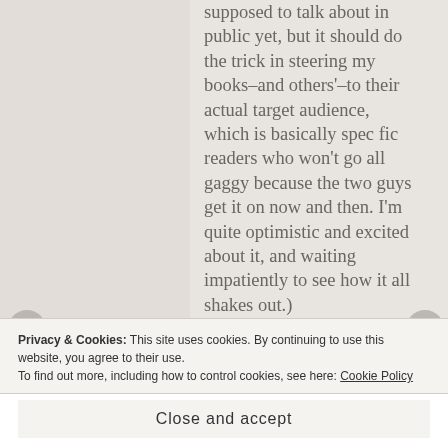supposed to talk about in public yet, but it should do the trick in steering my books–and others'–to their actual target audience, which is basically spec fic readers who won't go all gaggy because the two guys get it on now and then. I'm quite optimistic and excited about it, and waiting impatiently to see how it all shakes out.)

So, Romance *is* a pretty narrow genre, if we're going
Privacy & Cookies: This site uses cookies. By continuing to use this website, you agree to their use.
To find out more, including how to control cookies, see here: Cookie Policy
Close and accept